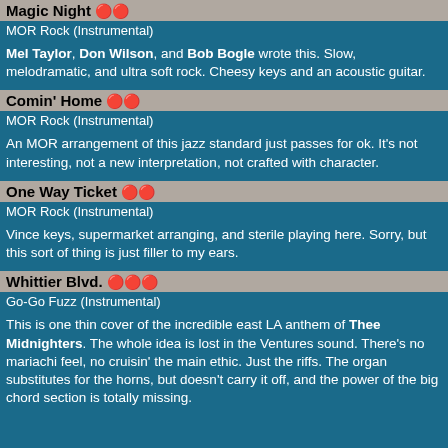Magic Night 🔴🔴
MOR Rock (Instrumental)
Mel Taylor, Don Wilson, and Bob Bogle wrote this. Slow, melodramatic, and ultra soft rock. Cheesy keys and an acoustic guitar.
Comin' Home 🔴🔴
MOR Rock (Instrumental)
An MOR arrangement of this jazz standard just passes for ok. It's not interesting, not a new interpretation, not crafted with character.
One Way Ticket 🔴🔴
MOR Rock (Instrumental)
Vince keys, supermarket arranging, and sterile playing here. Sorry, but this sort of thing is just filler to my ears.
Whittier Blvd. 🔴🔴🔴
Go-Go Fuzz (Instrumental)
This is one thin cover of the incredible east LA anthem of Thee Midnighters. The whole idea is lost in the Ventures sound. There's no mariachi feel, no cruisin' the main ethic. Just the riffs. The organ substitutes for the horns, but doesn't carry it off, and the power of the big chord section is totally missing.